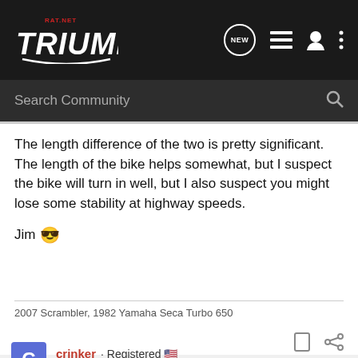Triumph Rat.net — navigation header with logo, NEW, list, user, and more icons; search bar with 'Search Community'
The length difference of the two is pretty significant. The length of the bike helps somewhat, but I suspect the bike will turn in well, but I also suspect you might lose some stability at highway speeds.

Jim 😎
2007 Scrambler, 1982 Yamaha Seca Turbo 650
crinker · Registered 🇺🇸
Joined Oct 15, 2008 · 72 Posts